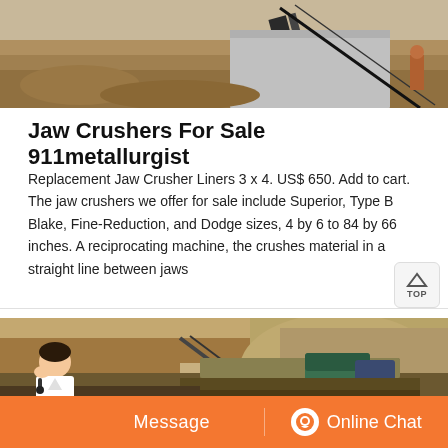[Figure (photo): Outdoor mining/quarry scene showing conveyor belt and industrial equipment on a rocky landscape]
Jaw Crushers For Sale 911metallurgist
Replacement Jaw Crusher Liners 3 x 4. US$ 650. Add to cart. The jaw crushers we offer for sale include Superior, Type B Blake, Fine-Reduction, and Dodge sizes, 4 by 6 to 84 by 66 inches. A reciprocating machine, the crushes material in a straight line between jaws
[Figure (photo): Outdoor quarry/mining site with heavy jaw crusher machinery in the foreground and rocky terrain and conveyor in the background]